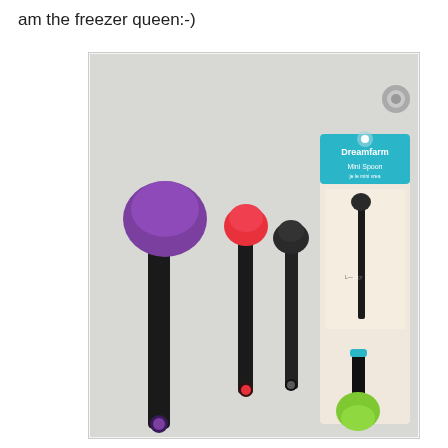am the freezer queen:-)
[Figure (photo): Photo of four Dreamfarm Mini Spoon silicone spatula spoons in purple, red, black, and green (packaged), displayed against a light gray background. One is in original packaging labeled 'Dreamfarm Mini Spoon'.]